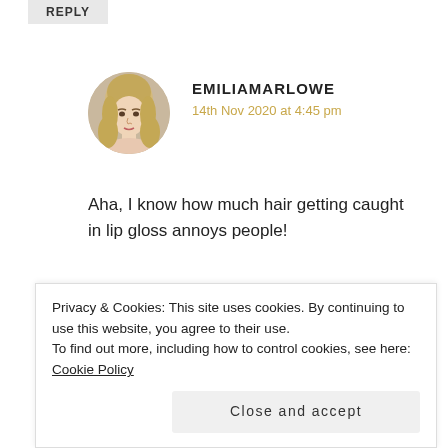REPLY
EMILIAMARLOWE
14th Nov 2020 at 4:45 pm
Aha, I know how much hair getting caught in lip gloss annoys people!
★ Liked by 1person
REPLY
Privacy & Cookies: This site uses cookies. By continuing to use this website, you agree to their use.
To find out more, including how to control cookies, see here: Cookie Policy
Close and accept